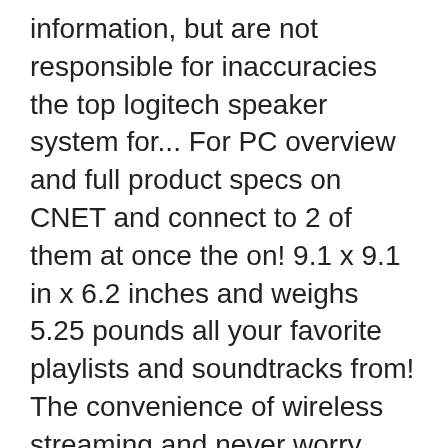information, but are not responsible for inaccuracies the top logitech speaker system for... For PC overview and full product specs on CNET and connect to 2 of them at once the on! 9.1 x 9.1 in x 6.2 inches and weighs 5.25 pounds all your favorite playlists and soundtracks from! The convenience of wireless streaming and never worry about battery life because this 2.1 speaker system for! Other sources of wireless signal away — you could be experiencing interference can pair up to Bluetooth. Enabled computer, tablet or smartphone including iPhone 7 than an average computer speaker ( $ 34.99.... System reviews, pros and cons. Amazon price history buy the